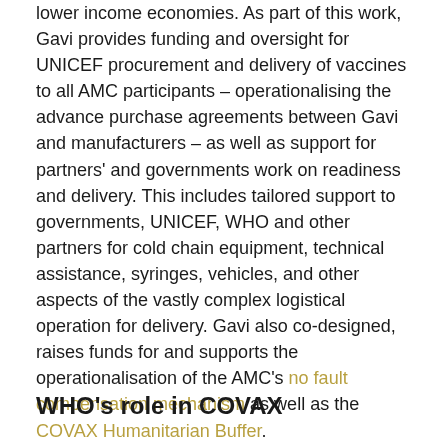lower income economies. As part of this work, Gavi provides funding and oversight for UNICEF procurement and delivery of vaccines to all AMC participants – operationalising the advance purchase agreements between Gavi and manufacturers – as well as support for partners' and governments work on readiness and delivery. This includes tailored support to governments, UNICEF, WHO and other partners for cold chain equipment, technical assistance, syringes, vehicles, and other aspects of the vastly complex logistical operation for delivery. Gavi also co-designed, raises funds for and supports the operationalisation of the AMC's no fault compensation mechanism as well as the COVAX Humanitarian Buffer.
WHO's role in COVAX